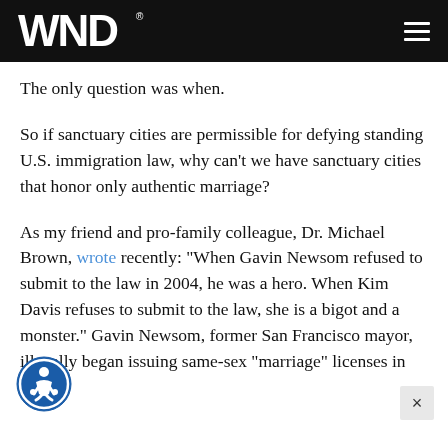WND
The only question was when.
So if sanctuary cities are permissible for defying standing U.S. immigration law, why can't we have sanctuary cities that honor only authentic marriage?
As my friend and pro-family colleague, Dr. Michael Brown, wrote recently: "When Gavin Newsom refused to submit to the law in 2004, he was a hero. When Kim Davis refuses to submit to the law, she is a bigot and a monster." Gavin Newsom, former San Francisco mayor, illegally began issuing same-sex "marriage" licenses in